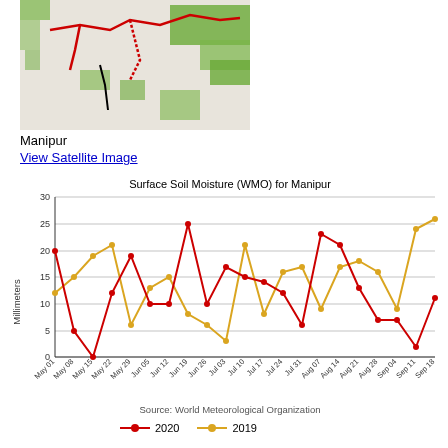[Figure (map): Satellite/land cover map of Manipur region showing green vegetation areas, red boundary lines, and black route markers on a light background]
Manipur
View Satellite Image
[Figure (line-chart): Surface Soil Moisture (WMO) for Manipur]
Source: World Meteorological Organization